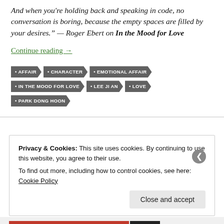And when you're holding back and speaking in code, no conversation is boring, because the empty spaces are filled by your desires." — Roger Ebert on In the Mood for Love
Continue reading →
• AFFAIR
• CHARACTER
• EMOTIONAL AFFAIR
• IN THE MOOD FOR LOVE
• LEE JI AN
• LOVE
• PARK DONG HOON
Privacy & Cookies: This site uses cookies. By continuing to use this website, you agree to their use. To find out more, including how to control cookies, see here: Cookie Policy
Close and accept